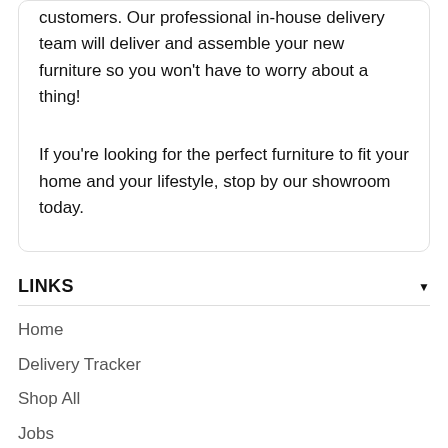customers. Our professional in-house delivery team will deliver and assemble your new furniture so you won't have to worry about a thing!
If you're looking for the perfect furniture to fit your home and your lifestyle, stop by our showroom today.
LINKS
Home
Delivery Tracker
Shop All
Jobs